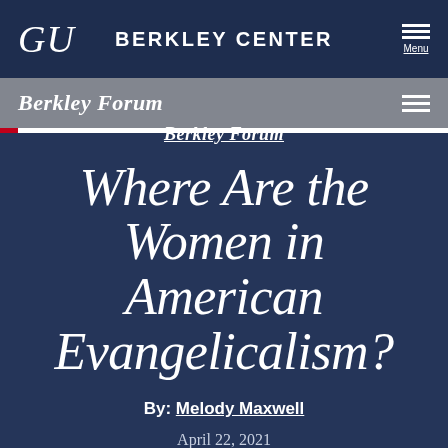GU  BERKLEY CENTER  Menu
Berkley Forum
Berkley Forum
Where Are the Women in American Evangelicalism?
By: Melody Maxwell
April 22, 2021